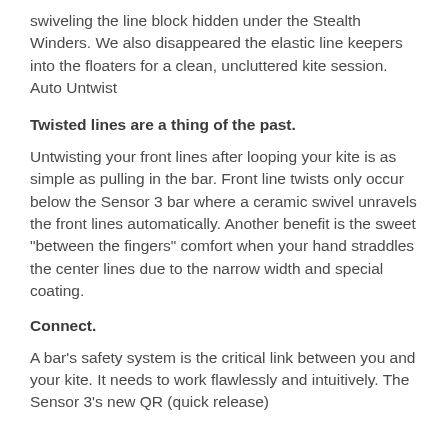swiveling the line block hidden under the Stealth Winders. We also disappeared the elastic line keepers into the floaters for a clean, uncluttered kite session. Auto Untwist
Twisted lines are a thing of the past.
Untwisting your front lines after looping your kite is as simple as pulling in the bar. Front line twists only occur below the Sensor 3 bar where a ceramic swivel unravels the front lines automatically. Another benefit is the sweet "between the fingers" comfort when your hand straddles the center lines due to the narrow width and special coating.
Connect.
A bar's safety system is the critical link between you and your kite. It needs to work flawlessly and intuitively. The Sensor 3's new QR (quick release)